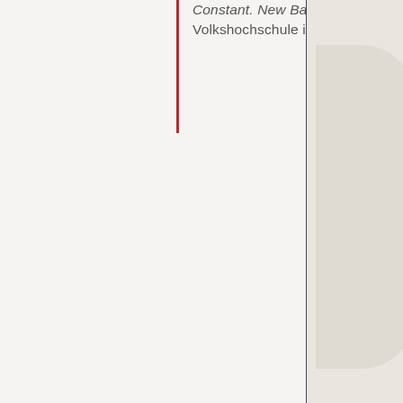Constant. New Babylon at the Volkshochschule in Cologne in 1966.